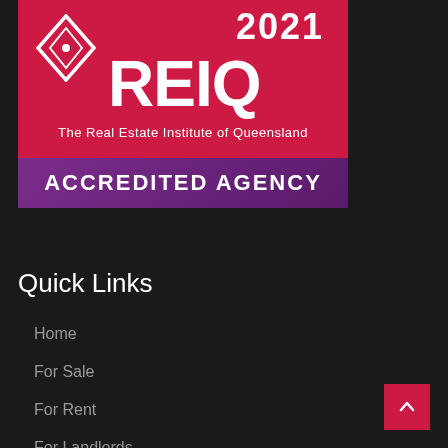[Figure (logo): REIQ 2021 Accredited Agency badge. Red background with diamond logo, large REIQ text, '2021' year, subtitle 'The Real Estate Institute of Queensland', and a purple banner reading 'ACCREDITED AGENCY'.]
Quick Links
Home
For Sale
For Rent
For Landlords